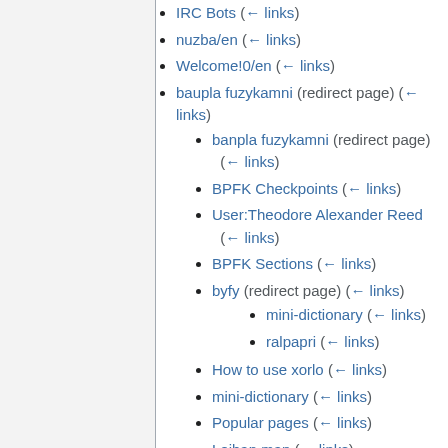IRC Bots (← links)
nuzba/en (← links)
Welcome!0/en (← links)
baupla fuzykamni (redirect page) (← links)
banpla fuzykamni (redirect page) (← links)
BPFK Checkpoints (← links)
User:Theodore Alexander Reed (← links)
BPFK Sections (← links)
byfy (redirect page) (← links)
mini-dictionary (← links)
ralpapri (← links)
How to use xorlo (← links)
mini-dictionary (← links)
Popular pages (← links)
Lojban map (← links)
ralpapri (← links)